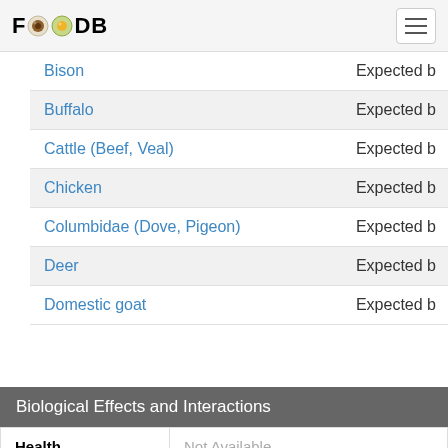FOODB
| Food | Effect |
| --- | --- |
| Bison | Expected b… |
| Buffalo | Expected b… |
| Cattle (Beef, Veal) | Expected b… |
| Chicken | Expected b… |
| Columbidae (Dove, Pigeon) | Expected b… |
| Deer | Expected b… |
| Domestic goat | Expected b… |
Biological Effects and Interactions
| Health Effects |  |
| --- | --- |
| Health Effects | Not Available |